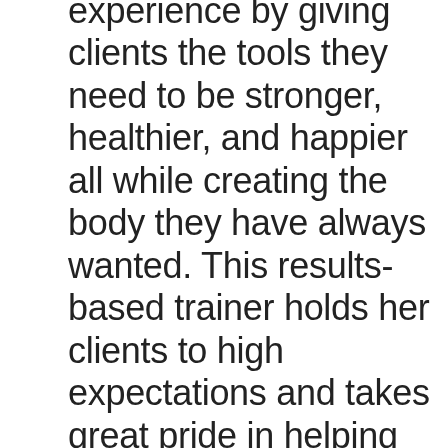experience by giving clients the tools they need to be stronger, healthier, and happier all while creating the body they have always wanted. This results-based trainer holds her clients to high expectations and takes great pride in helping them achieve their goals. Her "gentle push" approach along with her educational background & experience uniquely qualifies her to provide nutritional guidance, personalized workouts, and truly amazing results! If you are looking for workouts that are unique, strenuous, and fun contact Lisa out of her personal training studio- Custom Fitness Specialists in Sun